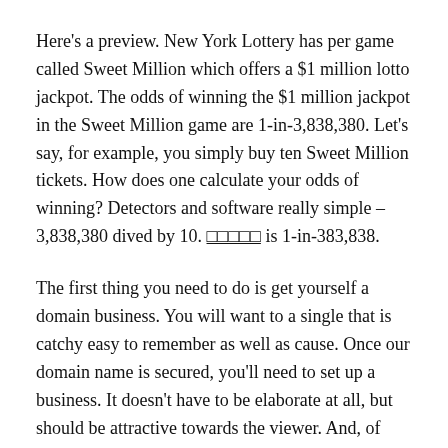Here's a preview. New York Lottery has per game called Sweet Million which offers a $1 million lotto jackpot. The odds of winning the $1 million jackpot in the Sweet Million game are 1-in-3,838,380. Let's say, for example, you simply buy ten Sweet Million tickets. How does one calculate your odds of winning? Detectors and software really simple – 3,838,380 dived by 10. □□□□□ is 1-in-383,838.
The first thing you need to do is get yourself a domain business. You will want to a single that is catchy easy to remember as well as cause. Once our domain name is secured, you'll need to set up a business. It doesn't have to be elaborate at all, but should be attractive towards the viewer. And, of course, you'll need to have a machine. Most host companies charge about $25 30 days. You want to be sure you acquire a number that allows ads. Some